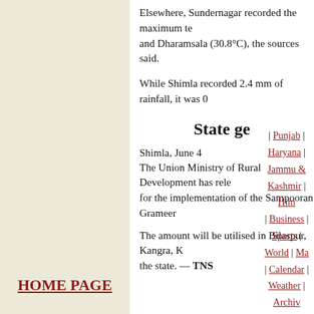Elsewhere, Sundernagar recorded the maximum te... and Dharamsala (30.8°C), the sources said.
While Shimla recorded 2.4 mm of rainfall, it was 0...
State ge
Shimla, June 4
The Union Ministry of Rural Development has rele... for the implementation of the Sampooran Grameer...
The amount will be utilised in Bilaspur, Kangra, K... the state. — TNS
HOME PAGE | Punjab | Haryana | Jammu & Kashmir | Him... | Business | Sports | World | Ma... | Calendar | Weather | Archiv...